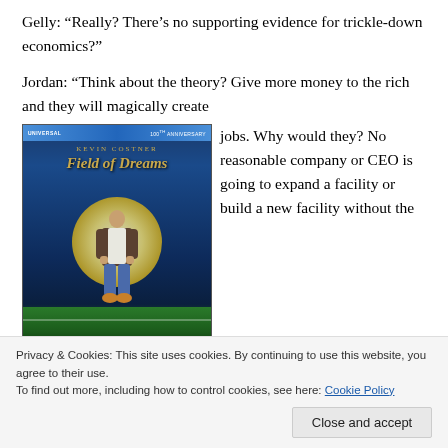Gelly:  “Really?  There’s no supporting evidence for trickle-down economics?”
Jordan:  “Think about the theory?  Give more money to the rich and they will magically create jobs.  Why would they?  No reasonable company or CEO is going to expand a facility or build a new facility without the
[Figure (photo): DVD cover of 'Field of Dreams' 100th Anniversary Universal edition featuring Kevin Costner standing on a baseball field in front of a large moon]
Privacy & Cookies: This site uses cookies. By continuing to use this website, you agree to their use.
To find out more, including how to control cookies, see here: Cookie Policy
Close and accept